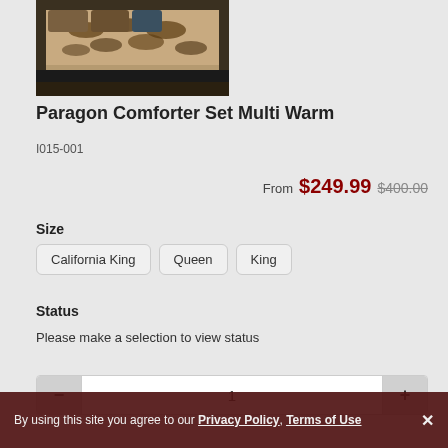[Figure (photo): Photo of a Paragon Comforter Set with warm brown and black patterned comforter on a dark bed frame]
Paragon Comforter Set Multi Warm
I015-001
From $249.99 $400.00
Size
California King
Queen
King
Status
Please make a selection to view status
1
By using this site you agree to our Privacy Policy, Terms of Use